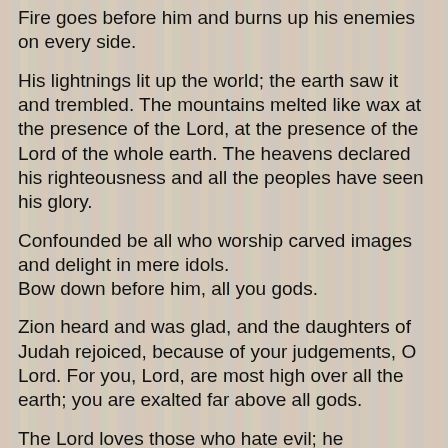Fire goes before him and burns up his enemies on every side.
His lightnings lit up the world; the earth saw it and trembled. The mountains melted like wax at the presence of the Lord, at the presence of the Lord of the whole earth. The heavens declared his righteousness and all the peoples have seen his glory.
Confounded be all who worship carved images and delight in mere idols.
Bow down before him, all you gods.
Zion heard and was glad, and the daughters of Judah rejoiced, because of your judgements, O Lord. For you, Lord, are most high over all the earth; you are exalted far above all gods.
The Lord loves those who hate evil; he preserves the lives of his faithful and delivers them from the hand of the wicked. Light has sprung up for the righteous and joy for the true of heart.